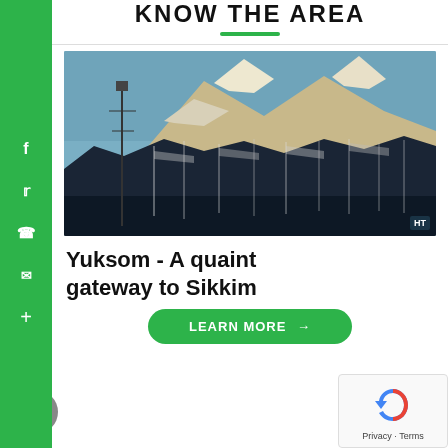KNOW THE AREA
[Figure (photo): Mountain landscape with snow-capped peaks, dark forested hills in foreground, prayer flags, and a communication tower. HT watermark in bottom-right corner.]
Yuksom - A quaint gateway to Sikkim
LEARN MORE →